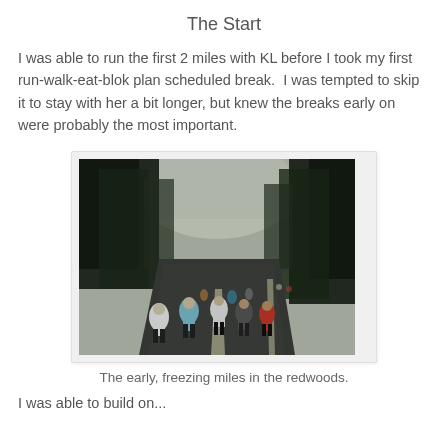The Start
I was able to run the first 2 miles with KL before I took my first run-walk-eat-blok plan scheduled break.  I was tempted to skip it to stay with her a bit longer, but knew the breaks early on were probably the most important.
[Figure (photo): Runners from behind on a tree-lined road in dim early morning light, redwood trees on both sides.]
The early, freezing miles in the redwoods.
I was able to build on...